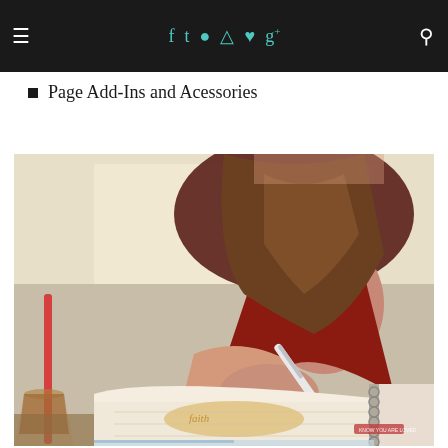≡  f  t  camera  pinterest  heart  g+  search (navigation bar)
Page Add-Ins and Acessories
[Figure (photo): Woman in red top writing in a spiral planner/journal at a cafe table, with an iced coffee drink visible in the lower left corner.]